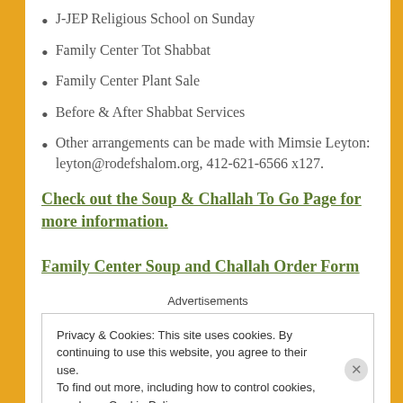J-JEP Religious School on Sunday
Family Center Tot Shabbat
Family Center Plant Sale
Before & After Shabbat Services
Other arrangements can be made with Mimsie Leyton: leyton@rodefshalom.org, 412-621-6566 x127.
Check out the Soup & Challah To Go Page for more information.
Family Center Soup and Challah Order Form
Advertisements
Privacy & Cookies: This site uses cookies. By continuing to use this website, you agree to their use. To find out more, including how to control cookies, see here: Cookie Policy
Close and accept